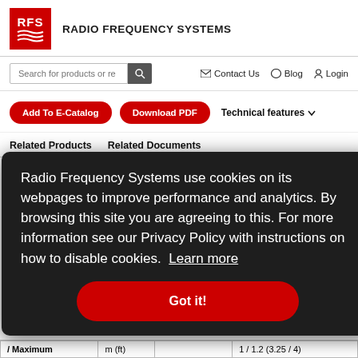[Figure (logo): RFS Radio Frequency Systems logo with red box and wave lines]
RADIO FREQUENCY SYSTEMS
[Figure (screenshot): Search bar with text 'Search for products or re' and navigation links: Contact Us, Blog, Login]
[Figure (screenshot): Buttons: Add To E-Catalog, Download PDF, Technical features dropdown]
Related Products   Related Documents
Radio Frequency Systems use cookies on its webpages to improve performance and analytics. By browsing this site you are agreeing to this. For more information see our Privacy Policy with instructions on how to disable cookies. Learn more
[Figure (screenshot): Got it! button in red]
| / Maximum | m (ft) |  | 1 / 1.2 (3.25 / 4) |
| --- | --- | --- | --- |